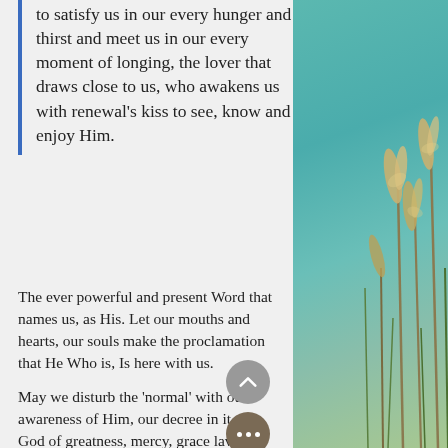to satisfy us in our every hunger and thirst and meet us in our every moment of longing, the lover that draws close to us, who awakens us with renewal's kiss to see, know and enjoy Him.
The ever powerful and present Word that names us, as His. Let our mouths and hearts, our souls make the proclamation that He Who is, Is here with us.
May we disturb the ‘normal’ with our awareness of Him, our decree in it the God of greatness, mercy, grace lavished love is with us in it all
[Figure (photo): Decorative photo panel on the right showing teal/turquoise sky background with tall grass or reed plants (pampas grass) in the foreground.]